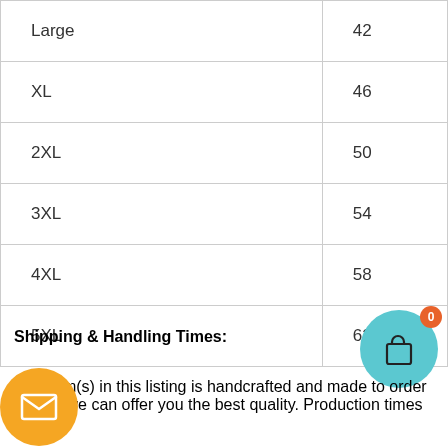| Large | 42 |
| XL | 46 |
| 2XL | 50 |
| 3XL | 54 |
| 4XL | 58 |
| 5XL | 62 |
Shipping & Handling Times:
The item(s) in this listing is handcrafted and made to order so that we can offer you the best quality. Production times are